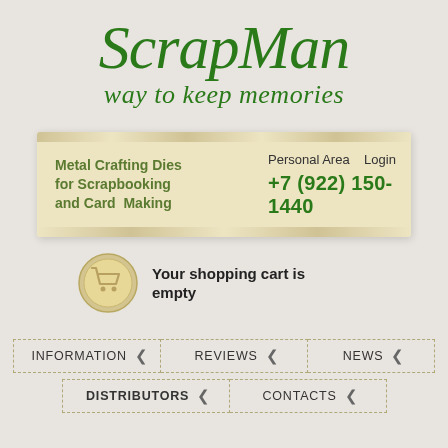ScrapMan
way to keep memories
Metal Crafting Dies for Scrapbooking and Card Making
Personal Area   Login
+7 (922) 150-1440
Your shopping cart is empty
INFORMATION
REVIEWS
NEWS
DISTRIBUTORS
CONTACTS